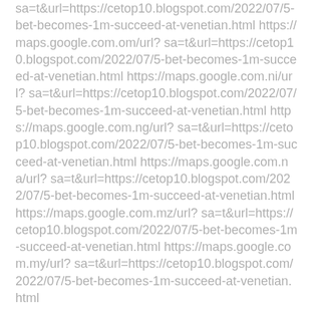sa=t&url=https://cetop10.blogspot.com/2022/07/5-bet-becomes-1m-succeed-at-venetian.html https://maps.google.com.om/url?sa=t&url=https://cetop10.blogspot.com/2022/07/5-bet-becomes-1m-succeed-at-venetian.html https://maps.google.com.ni/url?sa=t&url=https://cetop10.blogspot.com/2022/07/5-bet-becomes-1m-succeed-at-venetian.html https://maps.google.com.ng/url?sa=t&url=https://cetop10.blogspot.com/2022/07/5-bet-becomes-1m-succeed-at-venetian.html https://maps.google.com.na/url?sa=t&url=https://cetop10.blogspot.com/2022/07/5-bet-becomes-1m-succeed-at-venetian.html https://maps.google.com.mz/url?sa=t&url=https://cetop10.blogspot.com/2022/07/5-bet-becomes-1m-succeed-at-venetian.html https://maps.google.com.my/url?sa=t&url=https://cetop10.blogspot.com/2022/07/5-bet-becomes-1m-succeed-at-venetian.html